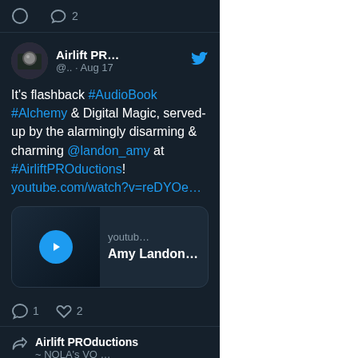[Figure (screenshot): Twitter/X dark-mode screenshot showing a tweet from Airlift PR about #AudioBook #Alchemy & Digital Magic featuring @landon_amy at #AirliftPROductions with a YouTube link card showing Amy Landon, with comment and like counts (1 comment, 2 likes), and a partial second tweet from Airlift PROductions - NOLA's VO...]